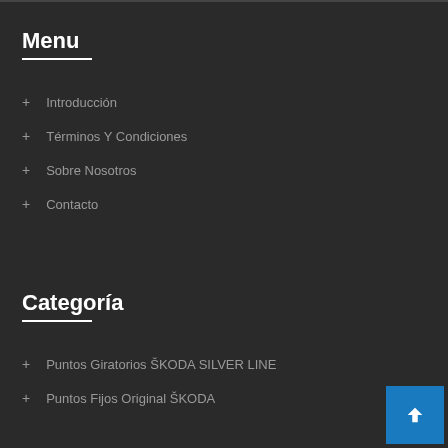Menu
+ Introducción
+ Términos Y Condiciones
+ Sobre Nosotros
+ Contacto
Categoría
+ Puntos Giratorios ŠKODA SILVER LINE
+ Puntos Fijos Original ŠKODA